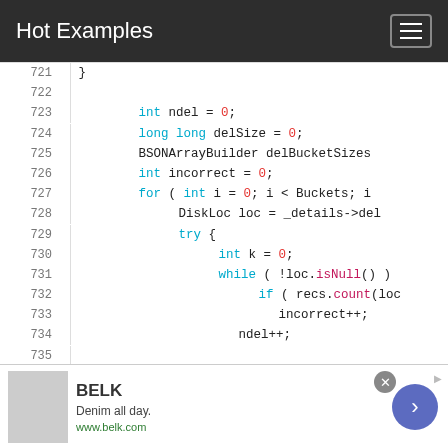Hot Examples
[Figure (screenshot): Code viewer showing C++ source lines 721-736 with syntax highlighting. Lines include int ndel=0, long long delSize=0, BSONArrayBuilder delBucketSizes, int incorrect=0, for loop, DiskLoc, try block, int k=0, while(!loc.isNull()), if(recs.count(loc, incorrect++, ndel++, and if(loc.questionab]
[Figure (screenshot): Advertisement banner for BELK: Denim all day. www.belk.com with close button and arrow navigation]